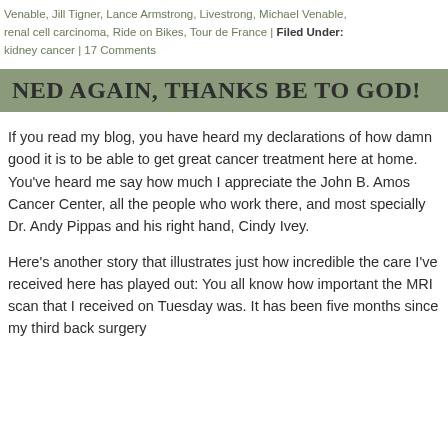Venable, Jill Tigner, Lance Armstrong, Livestrong, Michael Venable, renal cell carcinoma, Ride on Bikes, Tour de France | Filed Under: kidney cancer | 17 Comments
NED AGAIN, THANKS BE TO GOD!
If you read my blog, you have heard my declarations of how damn good it is to be able to get great cancer treatment here at home. You've heard me say how much I appreciate the John B. Amos Cancer Center, all the people who work there, and most specially Dr. Andy Pippas and his right hand, Cindy Ivey.
Here's another story that illustrates just how incredible the care I've received here has played out: You all know how important the MRI scan that I received on Tuesday was. It has been five months since my third back surgery